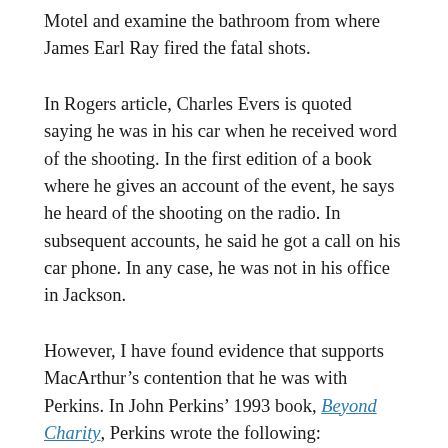Motel and examine the bathroom from where James Earl Ray fired the fatal shots.
In Rogers article, Charles Evers is quoted saying he was in his car when he received word of the shooting. In the first edition of a book where he gives an account of the event, he says he heard of the shooting on the radio. In subsequent accounts, he said he got a call on his car phone. In any case, he was not in his office in Jackson.
However, I have found evidence that supports MacArthur’s contention that he was with Perkins. In John Perkins’ 1993 book, Beyond Charity, Perkins wrote the following: